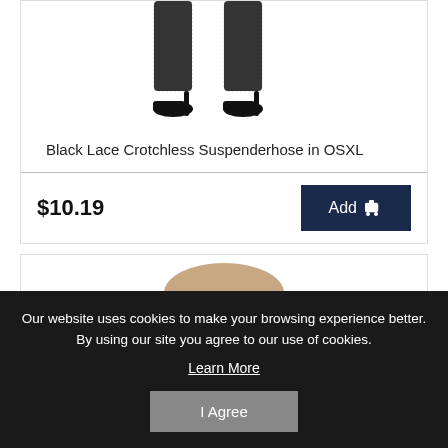[Figure (photo): Black lace crotchless suspenderhose product photo showing legs in black lace stockings and high heels]
Black Lace Crotchless Suspenderhose in OSXL
$10.19
[Figure (photo): Second product photo showing black lace garment around waist/hips area]
Our website uses cookies to make your browsing experience better. By using our site you agree to our use of cookies.
Learn More
I Agree